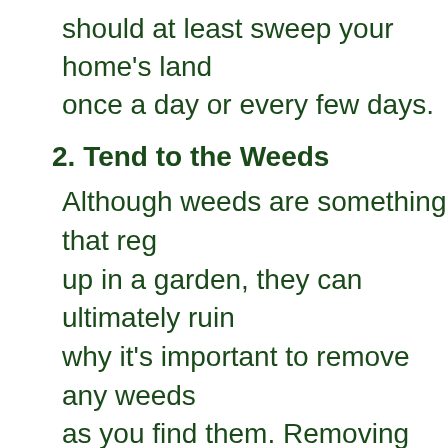should at least sweep your home's landscape once a day or every few days.
2. Tend to the Weeds
Although weeds are something that regularly up in a garden, they can ultimately ruin why it's important to remove any weeds as you find them. Removing weeds is e seems. Simply utilize a fertilizer or anot weed killer to remove them. If you're up could even use your hands to pull the w
3. Remove Dead & Overgrown Plants
Diseases can impact plants to the point can dry out and even die. If this happen